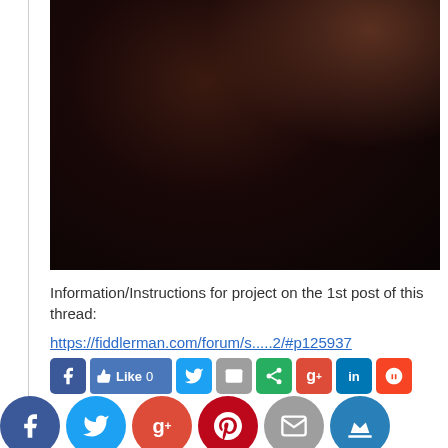[Figure (photo): Dark photo showing a shadowed object, mostly very dark brown/black tones with subtle highlight in upper right area]
Information/Instructions for project on the 1st post of this thread:
https://fiddlerman.com/forum/s.....2/#p125937
[Figure (infographic): Row of social media share buttons: Facebook (square), Like 0, Twitter, Email, Share, Google+, LinkedIn, StumbleUpon; below that row of round social buttons: Facebook, Twitter, Google+, Pinterest, Email, Crown/Kingsumo]